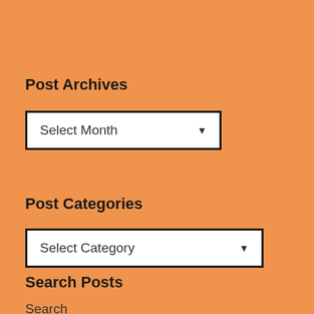Post Archives
[Figure (screenshot): Dropdown selector showing 'Select Month' with a downward arrow]
Post Categories
[Figure (screenshot): Dropdown selector showing 'Select Category' with a downward arrow]
Search Posts
Search